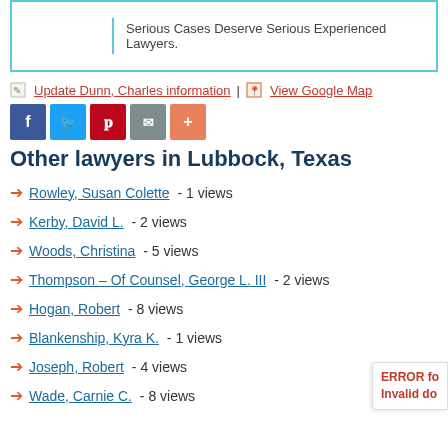[Figure (infographic): Ad box with cyan border and text: Serious Cases Deserve Serious Experienced Lawyers.]
✎ Update Dunn, Charles information | 🗺 View Google Map
[Figure (infographic): Social share buttons: Facebook (f), Twitter (bird), Pinterest (P), Email (envelope), More (+)]
Other lawyers in Lubbock, Texas
➔ Rowley, Susan Colette - 1 views
➔ Kerby, David L. - 2 views
➔ Woods, Christina - 5 views
➔ Thompson – Of Counsel, George L. III - 2 views
➔ Hogan, Robert - 8 views
➔ Blankenship, Kyra K. - 1 views
➔ Joseph, Robert - 4 views
➔ Wade, Carnie C. - 8 views